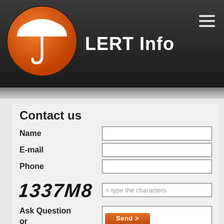[Figure (logo): LERT Info website header with orange circle umbrella logo and hamburger menu icon on dark background]
Contact us
Name
E-mail
Phone
[Figure (other): CAPTCHA image showing text '1337M8' in bold distorted black letters]
< type the characters
Ask Question or Send Info
Send >